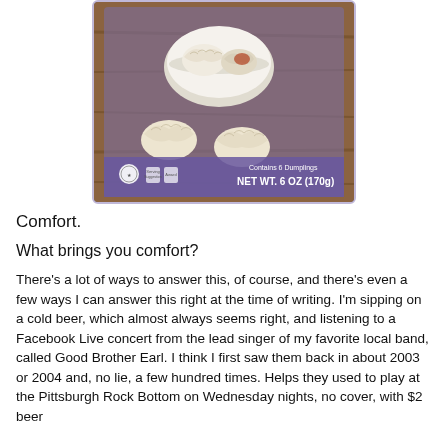[Figure (photo): A photo of a frozen dumpling box showing 6 dumplings, some in a white bowl and some loose, on a wooden surface. The box reads 'Contains 6 Dumplings' and 'NET WT. 6 OZ (170g)'. The box has a purple border.]
Comfort.
What brings you comfort?
There's a lot of ways to answer this, of course, and there's even a few ways I can answer this right at the time of writing. I'm sipping on a cold beer, which almost always seems right, and listening to a Facebook Live concert from the lead singer of my favorite local band, called Good Brother Earl. I think I first saw them back in about 2003 or 2004 and, no lie, a few hundred times. Helps they used to play at the Pittsburgh Rock Bottom on Wednesday nights, no cover, with $2 beer